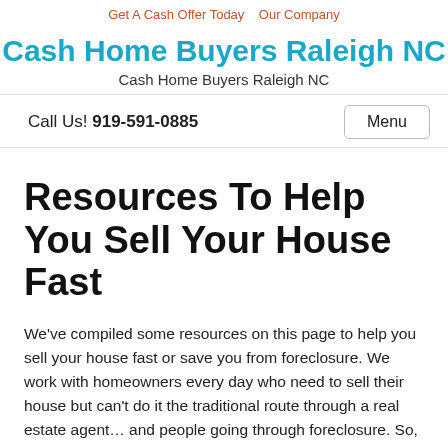Get A Cash Offer Today   Our Company
Cash Home Buyers Raleigh NC
Cash Home Buyers Raleigh NC
Call Us! 919-591-0885
Resources To Help You Sell Your House Fast
We've compiled some resources on this page to help you sell your house fast or save you from foreclosure. We work with homeowners every day who need to sell their house but can't do it the traditional route through a real estate agent… and people going through foreclosure. So, use us as a resource too. We'd be glad to answer your